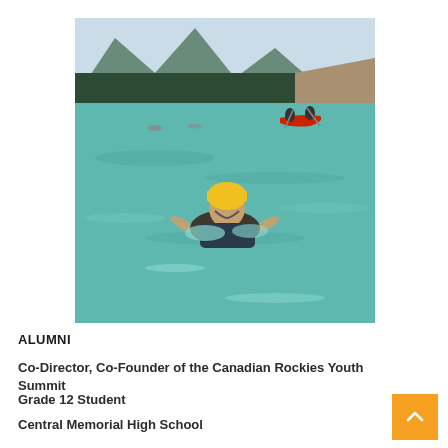[Figure (photo): Person wearing a yellow helmet swimming in a turquoise mountain river, with a red canoe carrying two people in the background, surrounded by forested mountains and sandy riverbanks.]
ALUMNI
Co-Director, Co-Founder of the Canadian Rockies Youth Summit
Grade 12 Student
Central Memorial High School